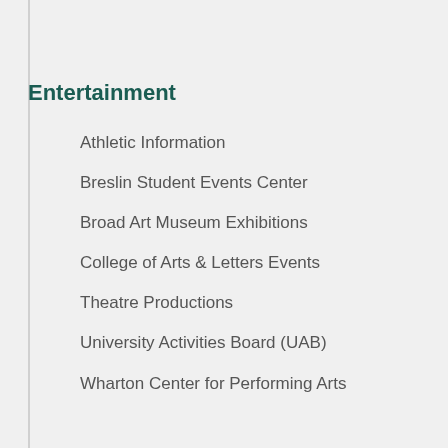Entertainment
Athletic Information
Breslin Student Events Center
Broad Art Museum Exhibitions
College of Arts & Letters Events
Theatre Productions
University Activities Board (UAB)
Wharton Center for Performing Arts